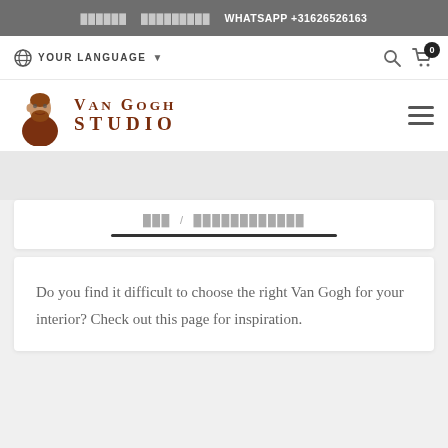██████  █████████  WHATSAPP +31626526163
YOUR LANGUAGE ▼
[Figure (logo): Van Gogh Studio logo with illustrated portrait of Van Gogh and text 'VAN GOGH STUDIO']
███ / ████████████
Do you find it difficult to choose the right Van Gogh for your interior? Check out this page for inspiration.